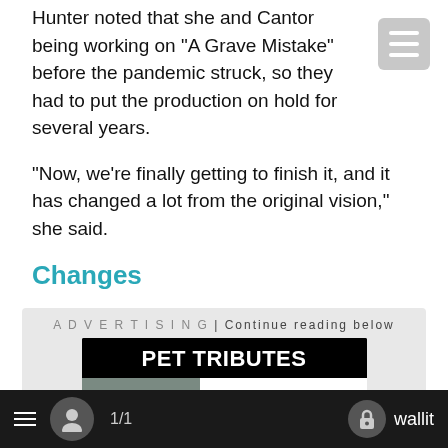Hunter noted that she and Cantor being working on "A Grave Mistake" before the pandemic struck, so they had to put the production on hold for several years.
"Now, we're finally getting to finish it, and it has changed a lot from the original vision," she said.
Changes
She noted that Cantor has been practicing mentalism and stage magic for many years and has integrated some of those skills into the pair's comedy work together.
[Figure (screenshot): Advertisement banner: 'PET TRIBUTES' in white bold text on black background, with a photo of a dog and text 'HONOR YOUR' visible. Labeled 'ADVERTISING | Continue reading below'.]
≡  👤  1/1  🔒 wallit